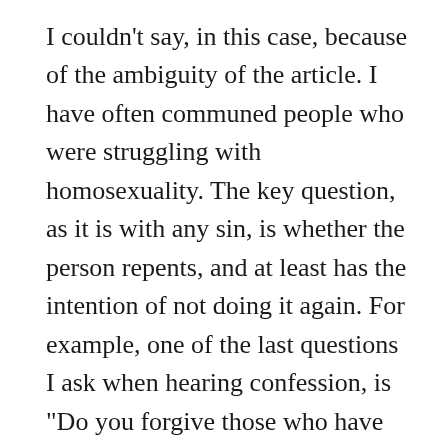I couldn't say, in this case, because of the ambiguity of the article. I have often communed people who were struggling with homosexuality. The key question, as it is with any sin, is whether the person repents, and at least has the intention of not doing it again. For example, one of the last questions I ask when hearing confession, is "Do you forgive those who have offended you?" Sometimes the answer is "No." And when I get that answer, I can't just say the prayer of absolution and let them commune. I explain what forgiveness means, and does not mean, and then ask the question again. Sometimes, I have to say, "If you do not choose to forgive,